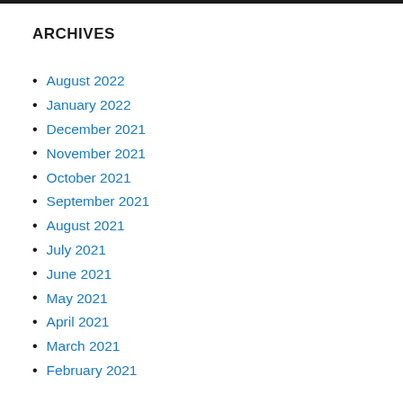ARCHIVES
August 2022
January 2022
December 2021
November 2021
October 2021
September 2021
August 2021
July 2021
June 2021
May 2021
April 2021
March 2021
February 2021